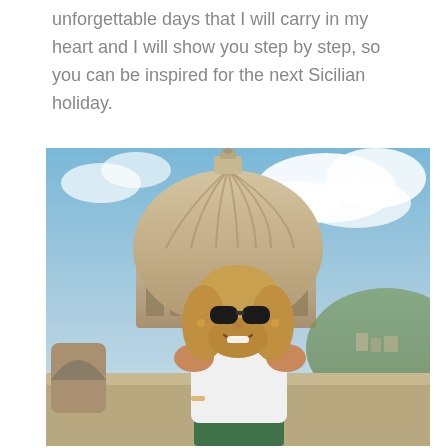unforgettable days that I will carry in my heart and I will show you step by step, so you can be inspired for the next Sicilian holiday.
[Figure (photo): A smiling woman with sunglasses and long blonde hair wearing a white crop top, standing in front of a large baroque stone dome (likely in Ragusa Ibla or similar Sicilian town), with a blue sky and clouds in the background and a hillside town visible in the distance.]